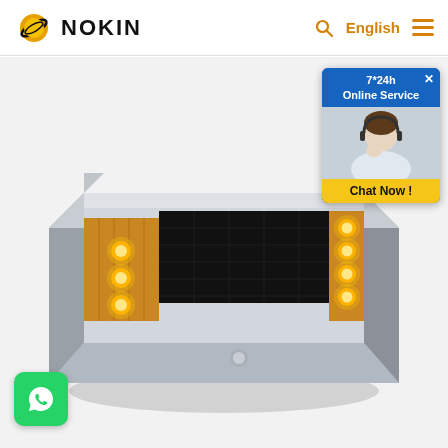NOKIN | English
[Figure (photo): Solar road stud / LED road marker with aluminum housing, showing amber/orange LEDs on two sides and a solar panel on top. The device is silver metallic with orange reflectors. Product photo on light gray background.]
[Figure (photo): 7*24h Online Service chat widget with a customer service agent photo and 'Chat Now!' button]
[Figure (logo): WhatsApp button icon (green rounded square with white phone/chat icon)]